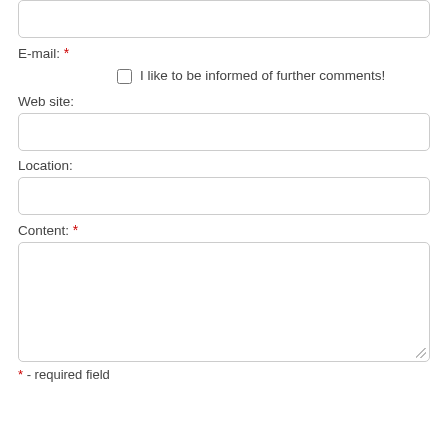E-mail: *
I like to be informed of further comments!
Web site:
Location:
Content: *
* - required field